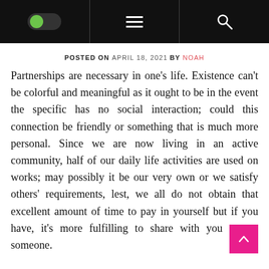Navigation bar with toggle switch, hamburger menu, and search icon
POSTED ON APRIL 18, 2021  BY NOAH
Partnerships are necessary in one’s life. Existence can’t be colorful and meaningful as it ought to be in the event the specific has no social interaction; could this connection be friendly or something that is much more personal. Since we are now living in an active community, half of our daily life activities are used on works; may possibly it be our very own or we satisfy others’ requirements, lest, we all do not obtain that excellent amount of time to pay in yourself but if you have, it’s more fulfilling to share with you someone.